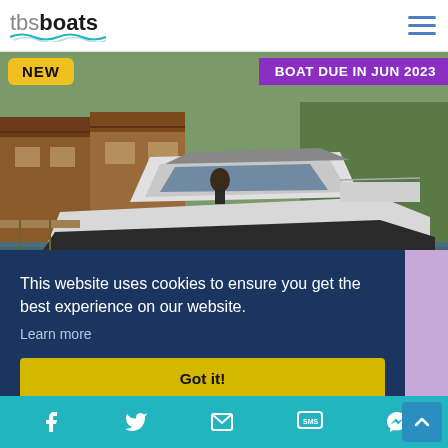tbsboats
[Figure (photo): A modern motorboat docked near wooden boathouses on a calm lake, with green trees in the background. Overlaid with a yellow 'NEW' badge and a purple 'BOAT DUE IN JUN 2023' banner.]
This website uses cookies to ensure you get the best experience on our website.
Learn more
Got it!
[Figure (infographic): Bottom navigation bar with social/contact icons: Facebook, Twitter, Email, SMS, Messenger, and a scroll-to-top button.]